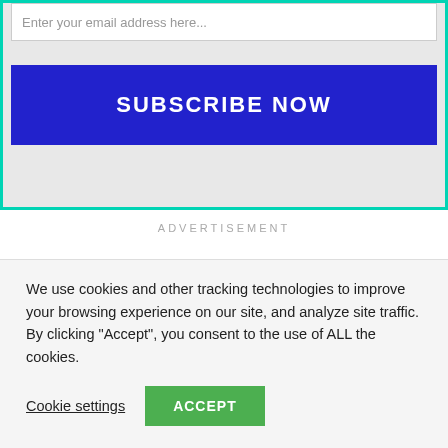Enter your email address here...
SUBSCRIBE NOW
ADVERTISEMENT
We use cookies and other tracking technologies to improve your browsing experience on our site, and analyze site traffic. By clicking “Accept”, you consent to the use of ALL the cookies.
Cookie settings
ACCEPT